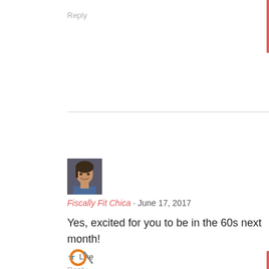Reply
[Figure (photo): Profile photo of Fiscally Fit Chica — woman smiling, small avatar thumbnail]
Fiscally Fit Chica · June 17, 2017
Yes, excited for you to be in the 60s next month!
★ Like
Reply